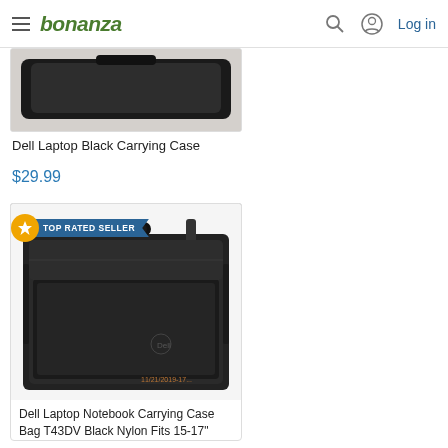bonanza | Log in
[Figure (photo): Dell laptop black carrying case - partial top view showing dark bag on white/grey background]
Dell Laptop Black Carrying Case
$29.99
[Figure (photo): Dell Laptop Notebook Carrying Case Bag T43DV Black Nylon, with TOP RATED SELLER banner. Full front view of black nylon laptop bag with handle and shoulder strap.]
Dell Laptop Notebook Carrying Case Bag T43DV Black Nylon Fits 15-17"